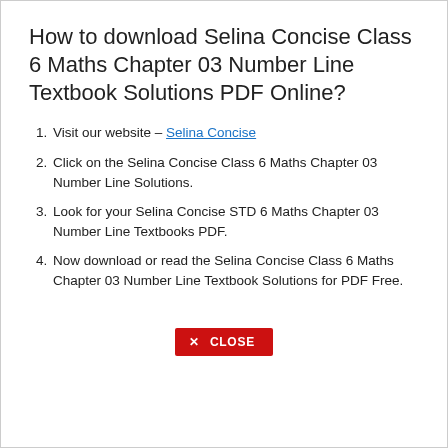How to download Selina Concise Class 6 Maths Chapter 03 Number Line Textbook Solutions PDF Online?
Visit our website – Selina Concise
Click on the Selina Concise Class 6 Maths Chapter 03 Number Line Solutions.
Look for your Selina Concise STD 6 Maths Chapter 03 Number Line Textbooks PDF.
Now download or read the Selina Concise Class 6 Maths Chapter 03 Number Line Textbook Solutions for PDF Free.
[Figure (other): Red CLOSE button with X mark]